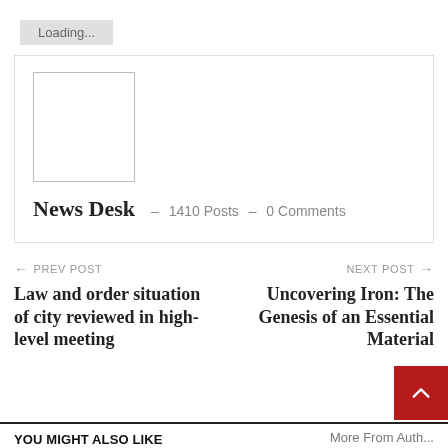Loading...
[Figure (other): Author avatar placeholder box (empty white rectangle with border)]
News Desk  –  1410 Posts  –  0 Comments
← PREV POST
Law and order situation of city reviewed in high-level meeting
NEXT POST →
Uncovering Iron: The Genesis of an Essential Material
YOU MIGHT ALSO LIKE
More From Author